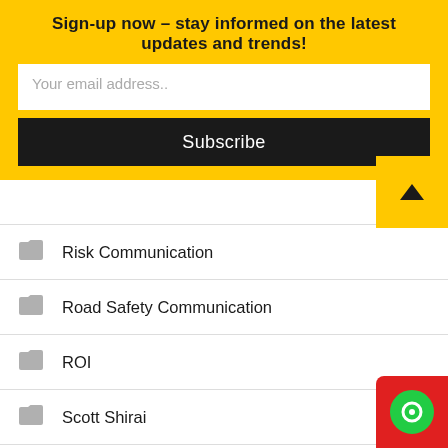Sign-up now – stay informed on the latest updates and trends!
Your email address..
Subscribe
Risk Communication
Road Safety Communication
ROI
Scott Shirai
Self branding
self leadership
Selling